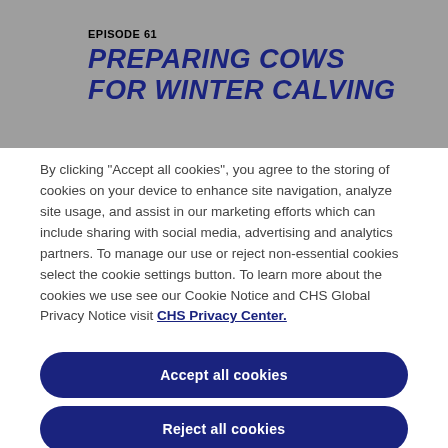EPISODE 61
PREPARING COWS FOR WINTER CALVING
By clicking “Accept all cookies”, you agree to the storing of cookies on your device to enhance site navigation, analyze site usage, and assist in our marketing efforts which can include sharing with social media, advertising and analytics partners. To manage our use or reject non-essential cookies select the cookie settings button. To learn more about the cookies we use see our Cookie Notice and CHS Global Privacy Notice visit CHS Privacy Center.
Accept all cookies
Reject all cookies